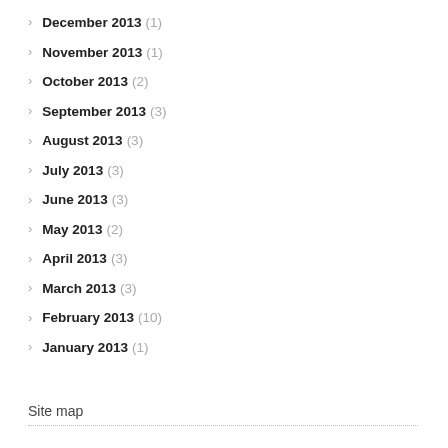December 2013 (1)
November 2013 (1)
October 2013 (2)
September 2013 (3)
August 2013 (3)
July 2013 (3)
June 2013 (3)
May 2013 (2)
April 2013 (3)
March 2013 (3)
February 2013 (10)
January 2013 (1)
Site map